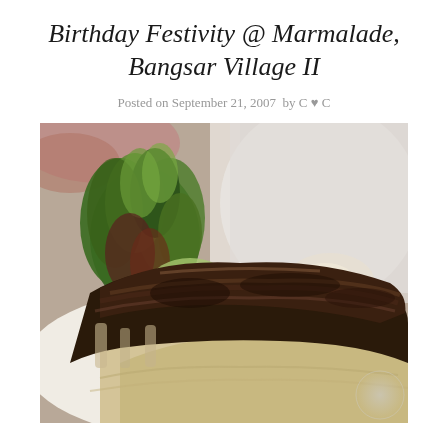Birthday Festivity @ Marmalade, Bangsar Village II
Posted on September 21, 2007  by C ♥ C
[Figure (photo): Close-up photograph of a grilled meat dish (appears to be a rack of lamb or ribs) served over creamy mashed potatoes or sauce, garnished with fresh mixed greens and lettuce. A person in a white shirt is partially visible in the blurred background.]